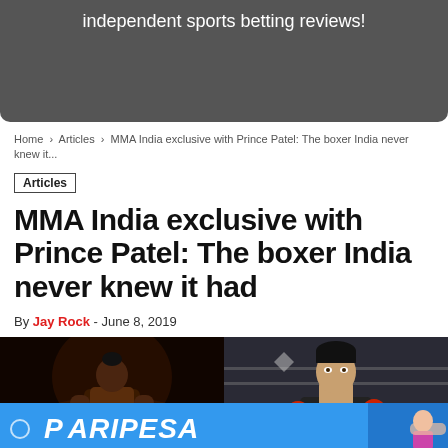independent sports betting reviews!
Home > Articles > MMA India exclusive with Prince Patel: The boxer India never knew it...
Articles
MMA India exclusive with Prince Patel: The boxer India never knew it had
By Jay Rock - June 8, 2019
[Figure (photo): Two boxing/MMA photos side by side: left shows a shirtless dark-skinned boxer in a ring, right shows a young fighter with boxing gloves in a gym. A PARIPESA advertisement banner overlays the bottom of the photos.]